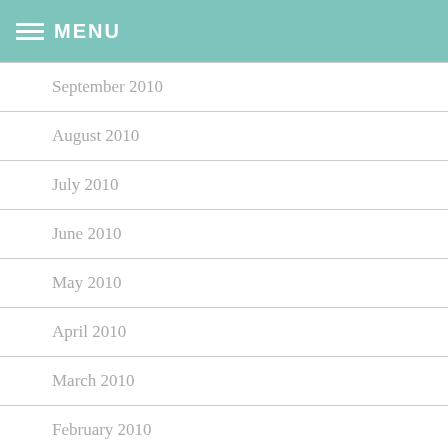MENU
September 2010
August 2010
July 2010
June 2010
May 2010
April 2010
March 2010
February 2010
January 2010
December 2009